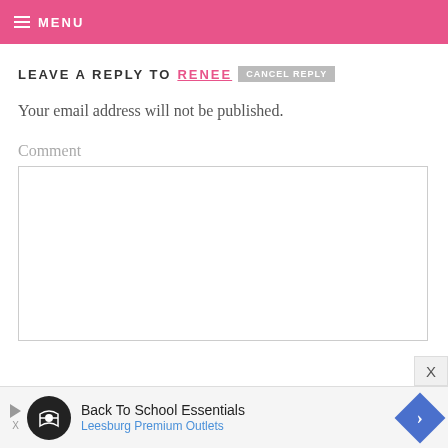≡ MENU
LEAVE A REPLY TO RENEE  CANCEL REPLY
Your email address will not be published.
Comment
[Figure (screenshot): Empty comment text area input box]
[Figure (screenshot): Advertisement banner: Back To School Essentials - Leesburg Premium Outlets]